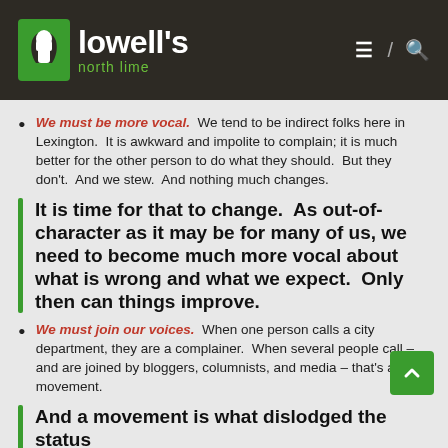lowell's north lime
We must be more vocal.  We tend to be indirect folks here in Lexington.  It is awkward and impolite to complain; it is much better for the other person to do what they should.  But they don't.  And we stew.  And nothing much changes.
It is time for that to change.  As out-of-character as it may be for many of us, we need to become much more vocal about what is wrong and what we expect.  Only then can things improve.
We must join our voices.  When one person calls a city department, they are a complainer.  When several people call – and are joined by bloggers, columnists, and media – that's a movement.
And a movement is what dislodged the status